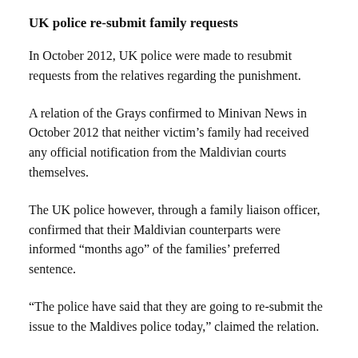UK police re-submit family requests
In October 2012, UK police were made to resubmit requests from the relatives regarding the punishment.
A relation of the Grays confirmed to Minivan News in October 2012 that neither victim's family had received any official notification from the Maldivian courts themselves.
The UK police however, through a family liaison officer, confirmed that their Maldivian counterparts were informed “months ago” of the families’ preferred sentence.
“The police have said that they are going to re-submit the issue to the Maldives police today,” claimed the relation.